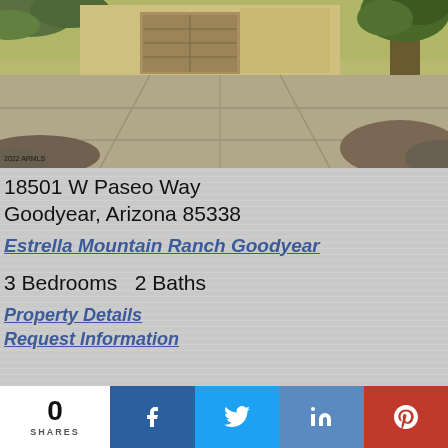[Figure (photo): Exterior photo of a single-story home with a wide concrete driveway, garage, desert landscaping, and a large tree on the right. Watermark reads '2022 ARMLS' in bottom left corner.]
18501 W Paseo Way
Goodyear, Arizona 85338
Estrella Mountain Ranch Goodyear
3 Bedrooms   2 Baths
Property Details
Request Information
0
SHARES